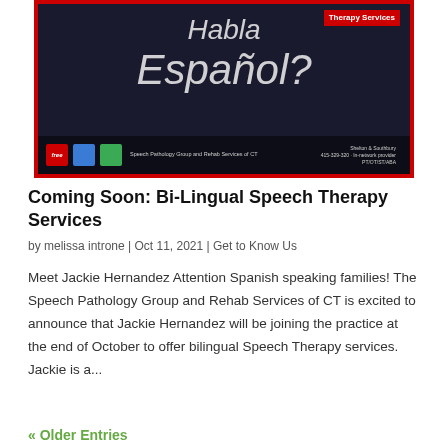[Figure (illustration): A chalkboard with cursive chalk text reading 'Habla Español?' with a red border, a red banner in the top right reading 'Therapy Services', and a bottom bar with logos and small text for a speech pathology group.]
Coming Soon: Bi-Lingual Speech Therapy Services
by melissa introne | Oct 11, 2021 | Get to Know Us
Meet Jackie Hernandez Attention Spanish speaking families! The Speech Pathology Group and Rehab Services of CT is excited to announce that Jackie Hernandez will be joining the practice at the end of October to offer bilingual Speech Therapy services. Jackie is a...
« Older Entries